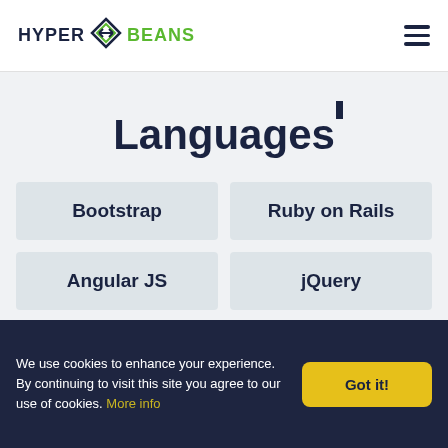[Figure (logo): HyperBeans logo with stylized icon and hamburger menu]
Languages
Bootstrap
Ruby on Rails
Angular JS
jQuery
We use cookies to enhance your experience. By continuing to visit this site you agree to our use of cookies. More info